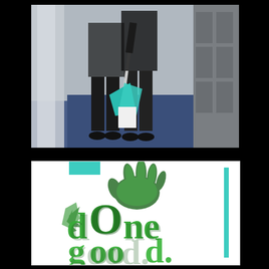[Figure (photo): Photo of people in formal attire (dark suits) in a hallway or corridor, one person holding a mop or cleaning tool with a teal/turquoise cloth, blue carpet visible on the floor, grey wall panels on the right side.]
[Figure (logo): Logo reading 'dOne good.' in large bold green decorative typography with a stylized green hand graphic above and to the right. The letters are in varying shades of green with a 3D/shadow effect. Teal border elements frame portions of the image.]